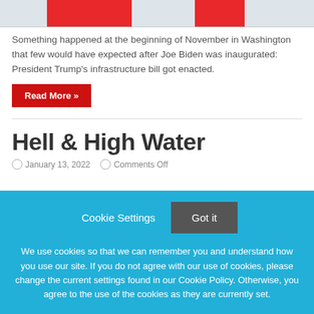[Figure (photo): Partial image showing a vehicle or structure with red and gray elements, cropped at top]
Something happened at the beginning of November in Washington that few would have expected after Joe Biden was inaugurated: President Trump's infrastructure bill got enacted.
Read More »
Hell & High Water
January 13, 2022   Comments Off
Cookie Settings
Got it
We use cookies so that we can remember you and understand how you use our site. If you do not agree with our use of cookies, please change the current settings found in our Cookie Policy. Otherwise, you agree to the use of the cookies as they are currently set.